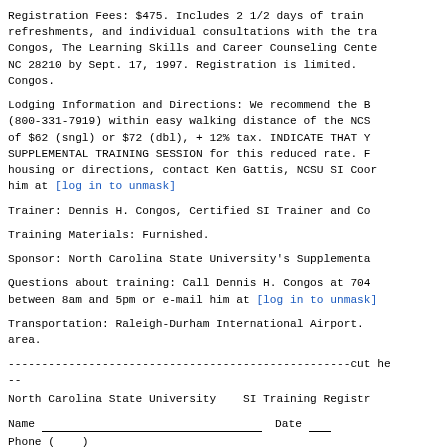Registration Fees:  $475.  Includes 2 1/2 days of train refreshments, and individual consultations with the tra Congos, The Learning Skills and Career Counseling Cente NC 28210 by Sept. 17, 1997.  Registration is limited. Congos.
Lodging Information and Directions:  We recommend the B (800-331-7919) within easy walking distance of the NCS of $62 (sngl) or $72 (dbl), + 12% tax.  INDICATE THAT Y SUPPLEMENTAL TRAINING SESSION for this reduced rate.  F housing or directions, contact Ken Gattis, NCSU SI Coor him at [log in to unmask]
Trainer:  Dennis H. Congos, Certified SI Trainer and Co
Training Materials:  Furnished.
Sponsor:  North Carolina State University's Supplementa
Questions about training:  Call Dennis H. Congos at 704 between 8am and 5pm or e-mail him at [log in to unmask]
Transportation:  Raleigh-Durham International Airport. area.
---------------------------------------------------cut he --
North Carolina State University    SI Training Registr
Name _________________________________ Date __ Phone (    )